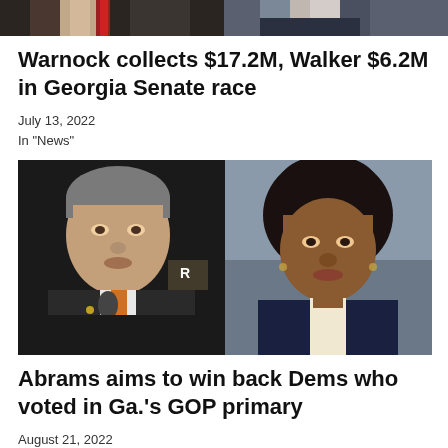[Figure (photo): Cropped bottom portion of two people side by side, partial view only showing shoulders/chest area]
Warnock collects $17.2M, Walker $6.2M in Georgia Senate race
July 13, 2022
In "News"
[Figure (photo): Side-by-side photo composite: left shows a man in a suit with orange tie speaking at a microphone (Brian Kemp); right shows a woman in a dark blazer with natural hair (Stacey Abrams)]
Abrams aims to win back Dems who voted in Ga.'s GOP primary
August 21, 2022
In "Featured Stories"